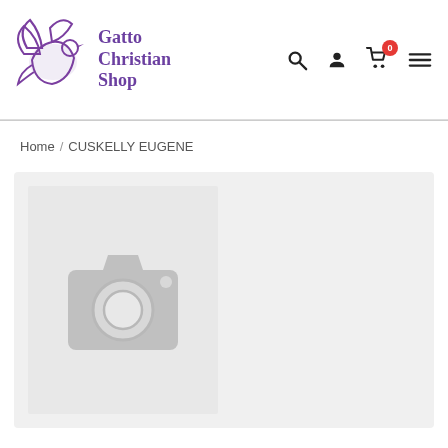[Figure (logo): Gatto Christian Shop logo with a dove illustration in purple/violet and text 'Gatto Christian Shop' in purple serif font]
[Figure (illustration): Navigation icons: search (magnifying glass), user/person, shopping cart with badge showing 0, and hamburger menu icon]
Home / CUSKELLY EUGENE
[Figure (photo): Placeholder product image: grey camera icon on light grey background, indicating no product image available]